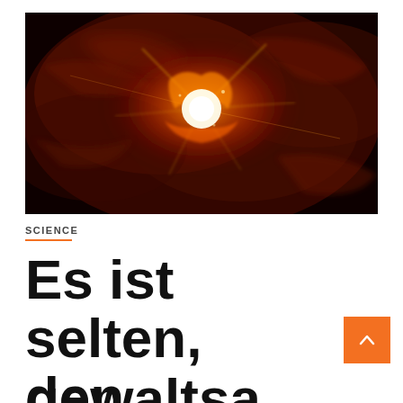[Figure (photo): Dramatic space image showing a bright stellar explosion or supernova with orange and red nebula clouds against a dark background. Intense white-orange light at center radiating outward.]
SCIENCE
Es ist selten, den gewaltsamen